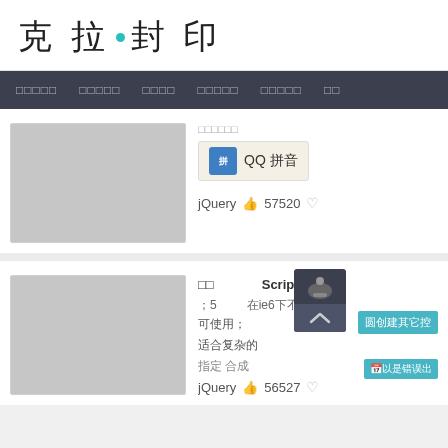克拉·封印
□□□□□  □□□□□  □□□□  □□□□□  □□□□□  □□
[Figure (screenshot): Website screenshot showing two content cards. First card has a grey placeholder image on the left, and on the right shows a QQ拼音 badge, jQuery tag with 57520 count. Second card has a grey placeholder image, JavaScript article title with popup overlay showing a dark tooltip with chevron, text fragments in Chinese, a teal 创建其它 button. jQuery tag with 56527 count.]
jQuery  57520
Script□□□□
在ie6下不会被se
可使用；
适合复杂的
jQuery  56527